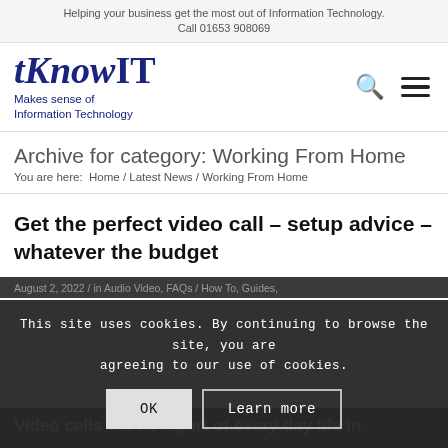Helping your business get the most out of Information Technology.
Call 01653 908069
[Figure (logo): tKnowIT logo with tagline 'Makes sense of Information Technology']
Archive for category: Working From Home
You are here:  Home / Latest News / Working From Home
Get the perfect video call – setup advice – whatever the budget
August 2, 2022 / in Audio Video, FAQs / How To, Guides,
Teasdale
This site uses cookies. By continuing to browse the site, you are agreeing to our use of cookies.
OK   Learn more
Video calls are now part of every day life in